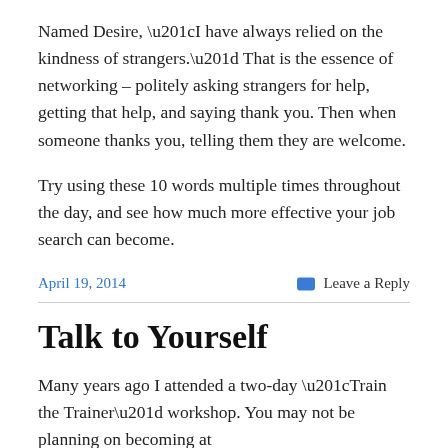Named Desire, “I have always relied on the kindness of strangers.” That is the essence of networking – politely asking strangers for help, getting that help, and saying thank you. Then when someone thanks you, telling them they are welcome.
Try using these 10 words multiple times throughout the day, and see how much more effective your job search can become.
April 19, 2014
Leave a Reply
Talk to Yourself
Many years ago I attended a two-day “Train the Trainer” workshop. You may not be planning on becoming at